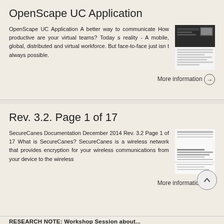OpenScape UC Application
OpenScape UC Application A better way to communicate How productive are your virtual teams? Today s reality - A mobile, global, distributed and virtual workforce. But face-to-face just isn t always possible.
More information →
Rev. 3.2. Page 1 of 17
SecureCanes Documentation December 2014 Rev. 3.2 Page 1 of 17 What is SecureCanes? SecureCanes is a wireless network that provides encryption for your wireless communications from your device to the wireless
More information →
RESEARCH NOTE: Workshop Session about...